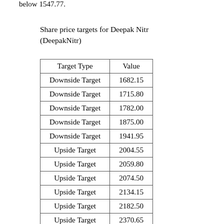below 1547.77.
Share price targets for Deepak Nitr
(DeepakNitr)
| Target Type | Value |
| --- | --- |
| Downside Target | 1682.15 |
| Downside Target | 1715.80 |
| Downside Target | 1782.00 |
| Downside Target | 1875.00 |
| Downside Target | 1941.95 |
| Upside Target | 2004.55 |
| Upside Target | 2059.80 |
| Upside Target | 2074.50 |
| Upside Target | 2134.15 |
| Upside Target | 2182.50 |
| Upside Target | 2370.65 |
| Upside Target | 2389.95 |